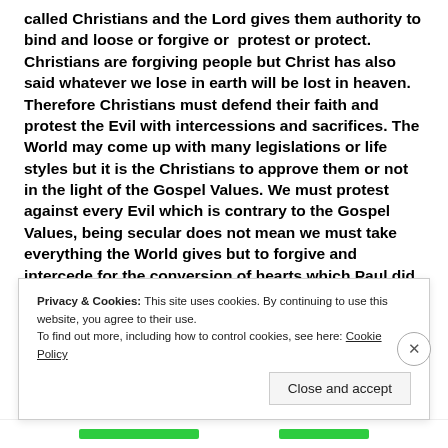called Christians and the Lord gives them authority to bind and loose or forgive or protest or protect. Christians are forgiving people but Christ has also said whatever we lose in earth will be lost in heaven. Therefore Christians must defend their faith and protest the Evil with intercessions and sacrifices. The World may come up with many legislations or life styles but it is the Christians to approve them or not in the light of the Gospel Values. We must protest against every Evil which is contrary to the Gospel Values, being secular does not mean we must take everything the World gives but to forgive and intercede for the conversion of hearts which Paul did in the Roman Empire and through his arguments
Privacy & Cookies: This site uses cookies. By continuing to use this website, you agree to their use.
To find out more, including how to control cookies, see here: Cookie Policy
Close and accept